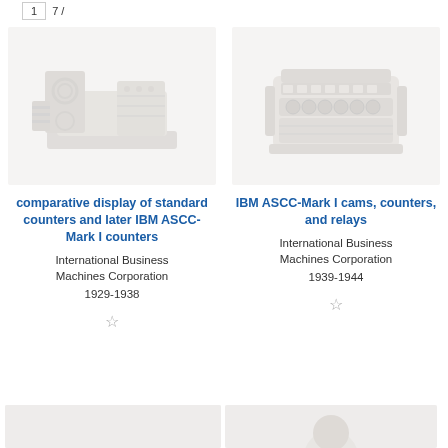7 /
[Figure (photo): Photograph of comparative display of standard counters and later IBM ASCC-Mark I counters, shown as a pale/faded image of mechanical computing equipment]
comparative display of standard counters and later IBM ASCC-Mark I counters
International Business Machines Corporation
1929-1938
[Figure (photo): Photograph of IBM ASCC-Mark I cams, counters, and relays, shown as a pale/faded image of mechanical computing components]
IBM ASCC-Mark I cams, counters, and relays
International Business Machines Corporation
1939-1944
[Figure (photo): Partially visible photograph at bottom right, showing a rounded white/light object, possibly a bust or device]
[Figure (photo): Partially visible photograph at bottom left, cropped]